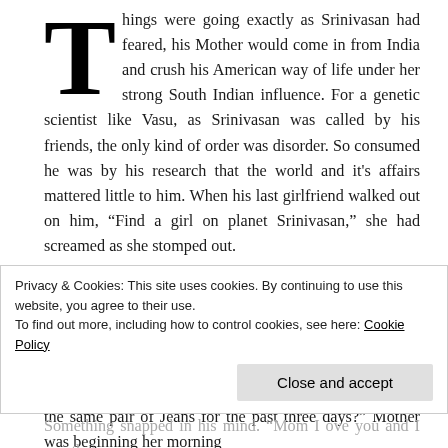Things were going exactly as Srinivasan had feared, his Mother would come in from India and crush his American way of life under her strong South Indian influence. For a genetic scientist like Vasu, as Srinivasan was called by his friends, the only kind of order was disorder. So consumed he was by his research that the world and it's affairs mattered little to him. When his last girlfriend walked out on him, “Find a girl on planet Srinivasan,” she had screamed as she stomped out.
Now Vasu’s Mother had taken over the administration of the planet. It irritated him, this milk at night and chyawanprash every morning. “Have you been wearing the same pair of Jeans for the past three days?” Mother was beginning her morning
Privacy & Cookies: This site uses cookies. By continuing to use this website, you agree to their use.
To find out more, including how to control cookies, see here: Cookie Policy
Close and accept
Something snapped in his mind. “Mom I ove you and I ove that